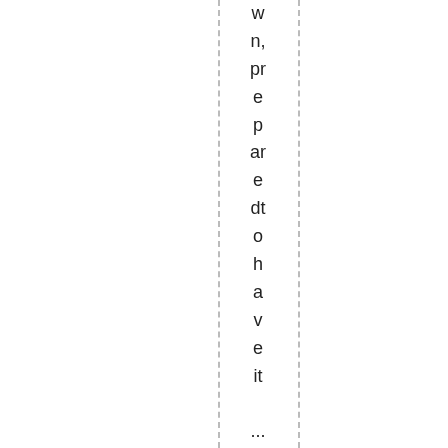wn, prepared to have it ... GUMMED! Full photo actio